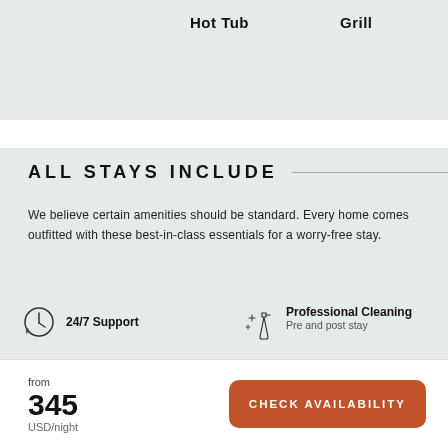Hot Tub
Grill
ALL STAYS INCLUDE
We believe certain amenities should be standard. Every home comes outfitted with these best-in-class essentials for a worry-free stay.
24/7 Support
Professional Cleaning
Pre and post stay
High-Speed WiFi
Kitchen Essentials
Cookware, Utensils, Microwave
from
345
USD/night
CHECK AVAILABILITY